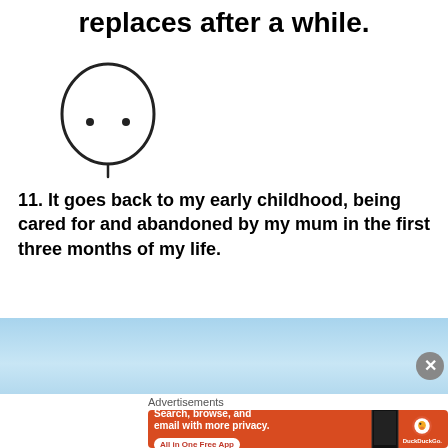replaces after a while.
[Figure (illustration): Simple stick figure drawing of a round head with two small dot eyes and a minimal body line, hand-drawn style in black ink on white background]
11. It goes back to my early childhood, being cared for and abandoned by my mum in the first three months of my life.
[Figure (photo): Light blue advertisement banner area, partially visible, with a close button (X) on the right side]
Advertisements
[Figure (screenshot): DuckDuckGo advertisement with orange background. Text reads: Search, browse, and email with more privacy. All in One Free App. Shows a phone with DuckDuckGo logo and brand name.]